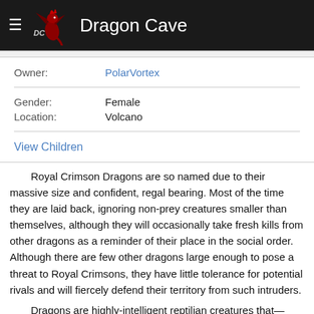Dragon Cave
Owner: PolarVortex
Gender: Female
Location: Volcano
View Children
Royal Crimson Dragons are so named due to their massive size and confident, regal bearing. Most of the time they are laid back, ignoring non-prey creatures smaller than themselves, although they will occasionally take fresh kills from other dragons as a reminder of their place in the social order. Although there are few other dragons large enough to pose a threat to Royal Crimsons, they have little tolerance for potential rivals and will fiercely defend their territory from such intruders.

Dragons are highly-intelligent reptilian creatures that—from a human perspective, at least—appear to live forever. Many different varieties of dragon exist, each with their own unique qualities,